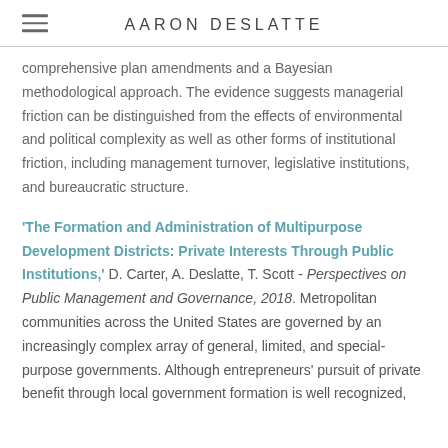AARON DESLATTE
comprehensive plan amendments and a Bayesian methodological approach. The evidence suggests managerial friction can be distinguished from the effects of environmental and political complexity as well as other forms of institutional friction, including management turnover, legislative institutions, and bureaucratic structure.
'The Formation and Administration of Multipurpose Development Districts: Private Interests Through Public Institutions,' D. Carter, A. Deslatte, T. Scott - Perspectives on Public Management and Governance, 2018. Metropolitan communities across the United States are governed by an increasingly complex array of general, limited, and special-purpose governments. Although entrepreneurs' pursuit of private benefit through local government formation is well recognized,